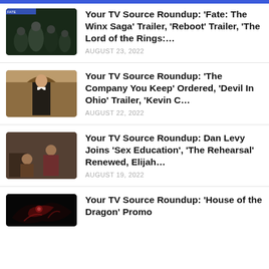[Figure (photo): Partial top navigation bar blue strip]
[Figure (photo): TV show cast photo - Fate: The Winx Saga, group of young people in dark forest setting]
Your TV Source Roundup: 'Fate: The Winx Saga' Trailer, 'Reboot' Trailer, 'The Lord of the Rings:…
AUGUST 23, 2022
[Figure (photo): Man in black tuxedo standing in elegant interior - The Company You Keep]
Your TV Source Roundup: 'The Company You Keep' Ordered, 'Devil In Ohio' Trailer, 'Kevin C…
AUGUST 22, 2022
[Figure (photo): Two people in a room, one standing in plaid shirt, one seated - The Rehearsal / Sex Education]
Your TV Source Roundup: Dan Levy Joins 'Sex Education', 'The Rehearsal' Renewed, Elijah…
AUGUST 19, 2022
[Figure (photo): Partial image - dragon or creature with red/glowing elements - House of the Dragon]
Your TV Source Roundup: 'House of the Dragon' Promo